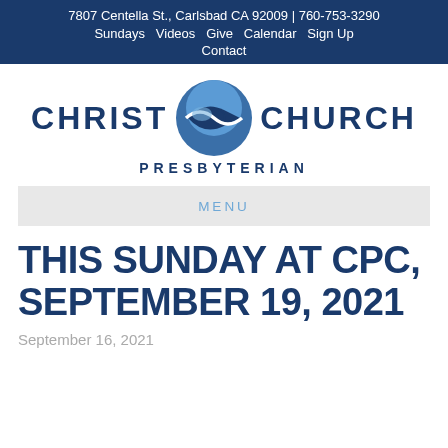7807 Centella St., Carlsbad CA 92009 | 760-753-3290 | Sundays | Videos | Give | Calendar | Sign Up | Contact
[Figure (logo): Christ Church Presbyterian logo with fish symbol circle in blue tones, text CHRIST CHURCH PRESBYTERIAN]
MENU
THIS SUNDAY AT CPC, SEPTEMBER 19, 2021
September 16, 2021